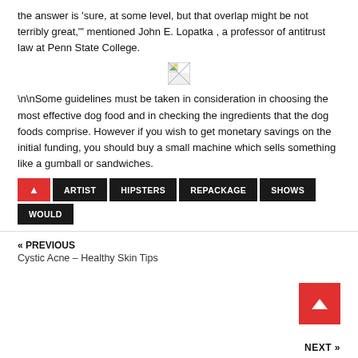the answer is 'sure, at some level, but that overlap might be not terribly great,'” mentioned John E. Lopatka , a professor of antitrust law at Penn State College.
[Figure (photo): Small broken/placeholder image icon]
\n\nSome guidelines must be taken in consideration in choosing the most effective dog food and in checking the ingredients that the dog foods comprise. However if you wish to get monetary savings on the initial funding, you should buy a small machine which sells something like a gumball or sandwiches.
ARTIST
HIPSTERS
REPACKAGE
SHOWS
WOULD
« PREVIOUS
Cystic Acne – Healthy Skin Tips
NEXT »